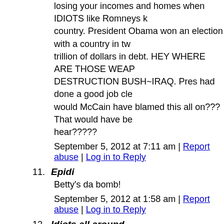losing your incomes and homes when IDIOTS like Romneys k country. President Obama won an election with a country in tw trillion of dollars in debt. HEY WHERE ARE THOSE WEAP DESTRUCTION BUSH~IRAQ. Pres had done a good job cle would McCain have blamed this all on??? That would have be hear?????
September 5, 2012 at 7:11 am | Report abuse | Log in to Reply
11. Epidi
Betty's da bomb!
September 5, 2012 at 1:58 am | Report abuse | Log in to Reply
12. Idiots all around
ha u think i am rich? not by a long shot
September 5, 2012 at 12:51 am | Report abuse | Log in to Repl
13. Blue collar american
You see that? The rich cant even spell sacrifice
September 5, 2012 at 12:36 am | Report abuse | Log in to Repl
14. Blue collar american
U want to stimulate the economy put the stimulus money in th